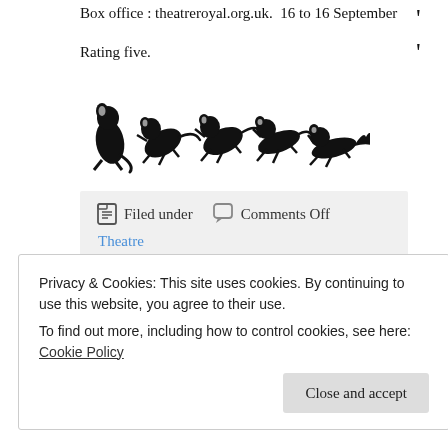Box office : theatreroyal.org.uk.  16 to 16 September
Rating five.
[Figure (illustration): Five rat/mouse silhouette clip art figures in black, depicting a rating of five rats]
Filed under   Comments Off
Theatre
AUGUST 18, 2022 · 12:47 PM
Privacy & Cookies: This site uses cookies. By continuing to use this website, you agree to their use.
To find out more, including how to control cookies, see here: Cookie Policy
Close and accept
(Matinee, Saturday)